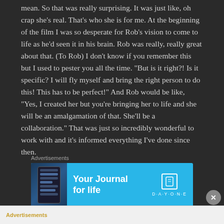mean. So that was really surprising. It was just like, oh crap she's real. That's who she is for me. At the beginning of the film I was so desperate for Rob's vision to come to life as he'd seen it in his brain. Rob was really, really great about that. (To Rob) I don't know if you remember this but I used to pester you all the time. “But is it right?! Is it specific? I will fly myself and bring the right person to do this! This has to be perfect!” And Rob would be like, “Yes, I created her but you’re bringing her to life and she will be an amalgamation of that. She’ll be a collaboration.” That was just so incredibly wonderful to work with and it’s informed everything I’ve done since then.
Advertisements
[Figure (other): Advertisement banner for Day One journal app with blue background, phone graphic, text 'Your Journal for life' and Day One logo]
REPORT THIS AD
Advertisements